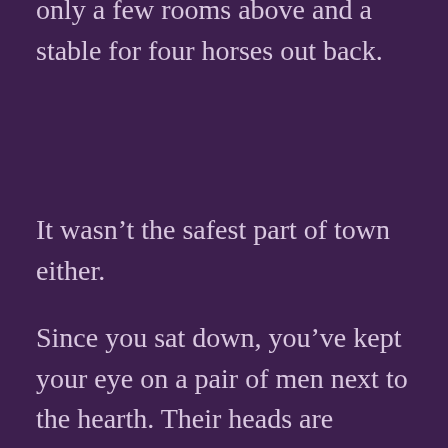only a few rooms above and a stable for four horses out back.
It wasn't the safest part of town either.
Since you sat down, you've kept your eye on a pair of men next to the hearth. Their heads are bowed over a chess table but you've yet to see a piece move. One of them, a great bearded fellow whose shoulders remind you of a